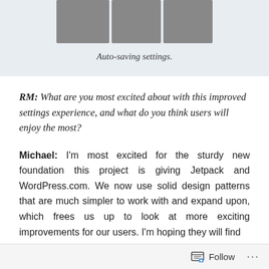[Figure (screenshot): Three screenshots of website/app interfaces showing blog and mobile views]
Auto-saving settings.
RM: What are you most excited about with this improved settings experience, and what do you think users will enjoy the most?
Michael: I'm most excited for the sturdy new foundation this project is giving Jetpack and WordPress.com. We now use solid design patterns that are much simpler to work with and expand upon, which frees us up to look at more exciting improvements for our users. I'm hoping they will find
Follow ...